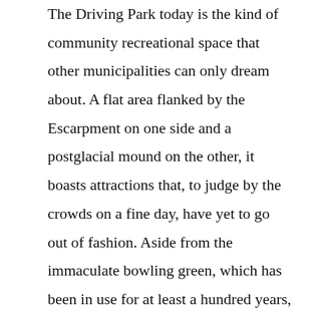The Driving Park today is the kind of community recreational space that other municipalities can only dream about. A flat area flanked by the Escarpment on one side and a postglacial mound on the other, it boasts attractions that, to judge by the crowds on a fine day, have yet to go out of fashion. Aside from the immaculate bowling green, which has been in use for at least a hundred years, there are play structures, four baseball diamonds, basketball practice hoops, tennis courts, a wading pool that turns into a winter skating rink, a spray pad, a bandshell/concession, a beautiful rock garden, a magnificent oak tree, various sculptures, plenty of picnic tables and barbecue pits, and pavilions and kitchenettes for rental. Extended families come from miles around to have outdoor get-togethers here, a